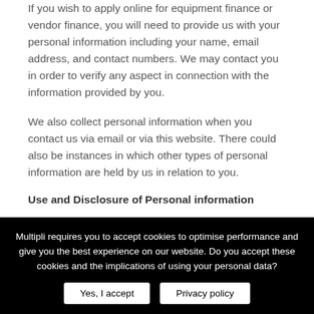If you wish to apply online for equipment finance or vendor finance, you will need to provide us with your personal information including your name, email address, and contact numbers. We may contact you in order to verify any aspect in connection with the information provided by you.
We also collect personal information when you contact us via email or via this website. There could also be instances in which other types of personal information are held by us in relation to you.
Use and Disclosure of Personal information
Multipli requires you to accept cookies to optimise performance and give you the best experience on our website. Do you accept these cookies and the implications of using your personal data?